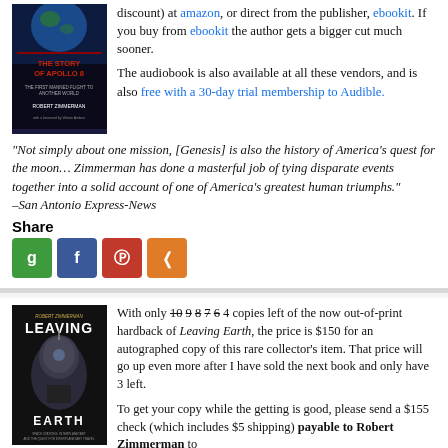discount) at amazon, or direct from the publisher, ebookit. If you buy from ebookit the author gets a bigger cut much sooner.
The audiobook is also available at all these vendors, and is also free with a 30-day trial membership to Audible.
“Not simply about one mission, [Genesis] is also the history of America’s quest for the moon… Zimmerman has done a masterful job of tying disparate events together into a solid account of one of America’s greatest human triumphs.” –San Antonio Express-News
Share
[Figure (infographic): Social share buttons: Google+, Facebook, Parler, Share]
[Figure (photo): Book cover: The Story of Apollo 8 by Robert Zimmerman]
With only 10 9 8 7 6 4 copies left of the now out-of-print hardback of Leaving Earth, the price is $150 for an autographed copy of this rare collector’s item. That price will go up even more after I have sold the next book and only have 3 left.
To get your copy while the getting is good, please send a $155 check (which includes $5 shipping) payable to Robert Zimmerman to
Behind The Black, c/o Robert Zimmerman
P.O.Box 1262
Cortaro, AZ 85652
[Figure (photo): Book cover: Leaving Earth by Robert Zimmerman]